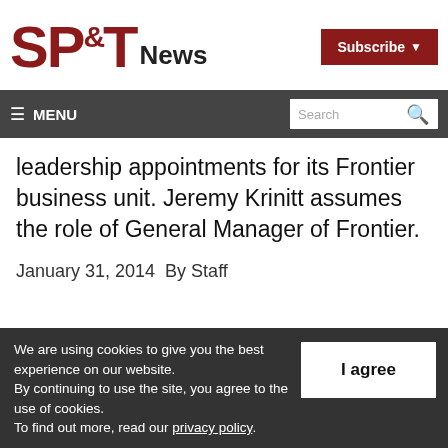[Figure (logo): SP&T News logo with large bold red SP&T letters and black News text]
Subscribe ▾
≡ MENU   Search 🔍
leadership appointments for its Frontier business unit. Jeremy Krinitt assumes the role of General Manager of Frontier.
January 31, 2014  By Staff
We are using cookies to give you the best experience on our website. By continuing to use the site, you agree to the use of cookies. To find out more, read our privacy policy.